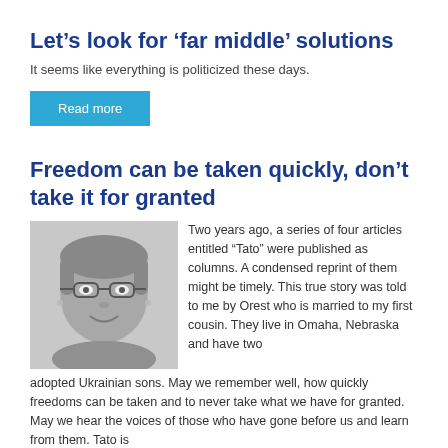Let’s look for ‘far middle’ solutions
It seems like everything is politicized these days.
Read more
Freedom can be taken quickly, don’t take it for granted
[Figure (photo): Black and white headshot of a woman with short hair and glasses, smiling]
Two years ago, a series of four articles entitled “Tato” were published as columns. A condensed reprint of them might be timely. This true story was told to me by Orest who is married to my first cousin. They live in Omaha, Nebraska and have two adopted Ukrainian sons. May we remember well, how quickly freedoms can be taken and to never take what we have for granted. May we hear the voices of those who have gone before us and learn from them. Tato is